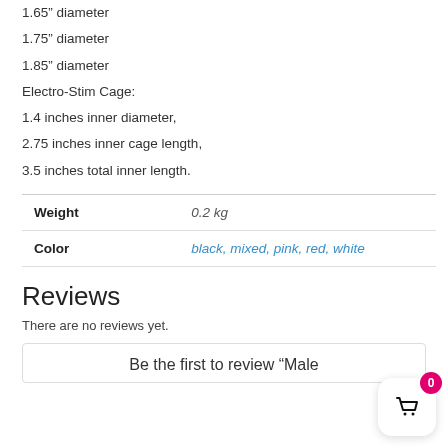1.65” diameter
1.75” diameter
1.85” diameter
Electro-Stim Cage:
1.4 inches inner diameter,
2.75 inches inner cage length,
3.5 inches total inner length.
|  |  |
| --- | --- |
| Weight | 0.2 kg |
| Color | black, mixed, pink, red, white |
Reviews
There are no reviews yet.
Be the first to review “Male